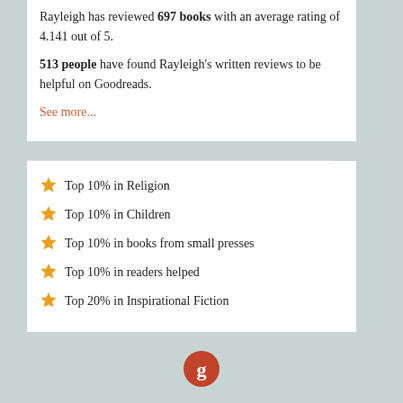Rayleigh has reviewed 697 books with an average rating of 4.141 out of 5. 513 people have found Rayleigh's written reviews to be helpful on Goodreads.
See more...
Top 10% in Religion
Top 10% in Children
Top 10% in books from small presses
Top 10% in readers helped
Top 20% in Inspirational Fiction
[Figure (logo): Goodreads circular logo icon in red/orange]